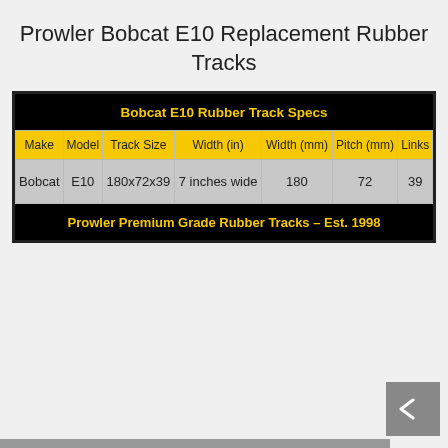Prowler Bobcat E10 Replacement Rubber Tracks
| Make | Model | Track Size | Width (in) | Width (mm) | Pitch (mm) | Links |
| --- | --- | --- | --- | --- | --- | --- |
| Bobcat | E10 | 180x72x39 | 7 inches wide | 180 | 72 | 39 |